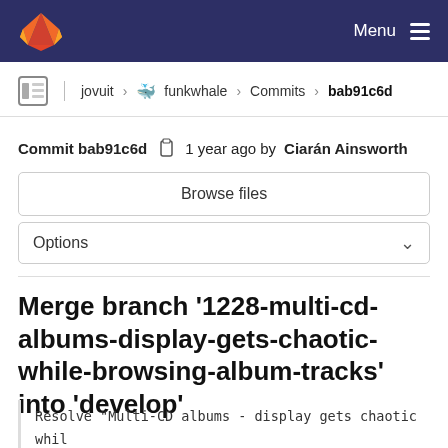GitLab — Menu
jovuit > funkwhale > Commits > bab91c6d
Commit bab91c6d  1 year ago by Ciarán Ainsworth
Browse files
Options
Merge branch '1228-multi-cd-albums-display-gets-chaotic-while-browsing-album-tracks' into 'develop'
Resolve "Multi-CD albums - display gets chaotic whil

Closes #1228